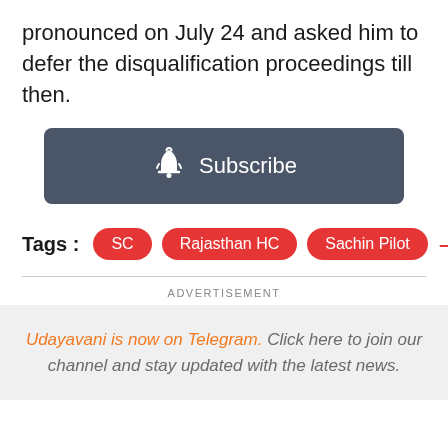pronounced on July 24 and asked him to defer the disqualification proceedings till then.
[Figure (other): Dark gray subscribe button with bell icon and 'Subscribe' text]
Tags : SC  Rajasthan HC  Sachin Pilot —
ADVERTISEMENT
Udayavani is now on Telegram. Click here to join our channel and stay updated with the latest news.